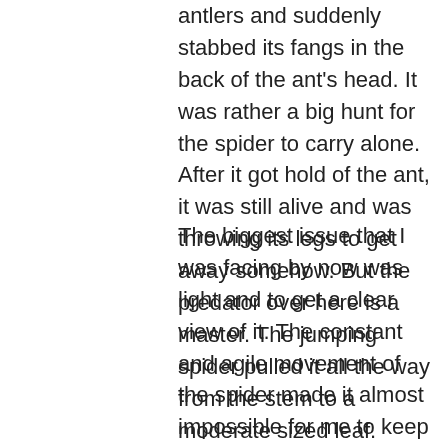antlers and suddenly stabbed its fangs in the back of the ant's head. It was rather a big hunt for the spider to carry alone. After it got hold of the ant, it was still alive and was throwing its legs to get away somehow. But the predator over here is a master. The jumping spider pulled it all the way from the stem to a moderate sized leaf.
The biggest issue that I was facing by now was light and to get a clear view of it. The constant and agile movement of the spider made it almost impossible for me to keep a constant track of his movement. On the other hand, it was avoiding the sunlight,  never coming out to an open space for me to get a clear shot. From the task of getting some light in the shadowy region